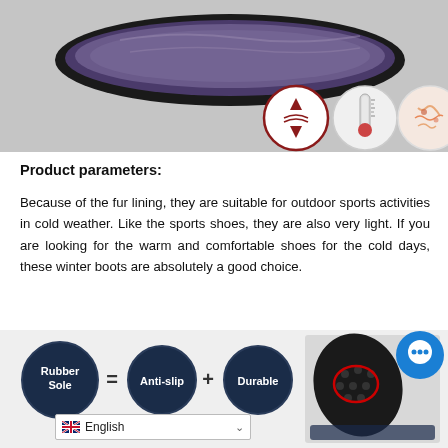[Figure (photo): Product photo showing bottom sole of a winter boot with dark rubber sole, and three circular icons below showing heat retention, temperature/thermometer, and blood circulation features. Background is gray.]
Product parameters:
Because of the fur lining, they are suitable for outdoor sports activities in cold weather. Like the sports shoes, they are also very light. If you are looking for the warm and comfortable shoes for the cold days, these winter boots are absolutely a good choice.
[Figure (infographic): Infographic showing Rubber Sole = Anti-slip + Durable using dark navy circle badges with white text, alongside a photo of rubber sole with circular red annotation highlight and a blue chat bubble icon. Language selector showing English at bottom.]